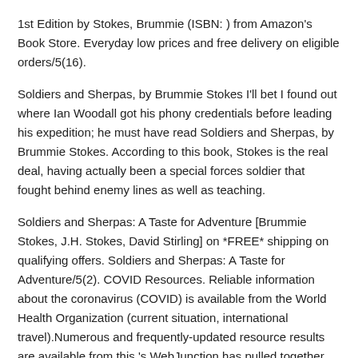1st Edition by Stokes, Brummie (ISBN: ) from Amazon's Book Store. Everyday low prices and free delivery on eligible orders/5(16).
Soldiers and Sherpas, by Brummie Stokes I'll bet I found out where Ian Woodall got his phony credentials before leading his expedition; he must have read Soldiers and Sherpas, by Brummie Stokes. According to this book, Stokes is the real deal, having actually been a special forces soldier that fought behind enemy lines as well as teaching.
Soldiers and Sherpas: A Taste for Adventure [Brummie Stokes, J.H. Stokes, David Stirling] on *FREE* shipping on qualifying offers. Soldiers and Sherpas: A Taste for Adventure/5(2). COVID Resources. Reliable information about the coronavirus (COVID) is available from the World Health Organization (current situation, international travel).Numerous and frequently-updated resource results are available from this 's WebJunction has pulled together information and resources to assist library staff as they consider how to handle coronavirus.